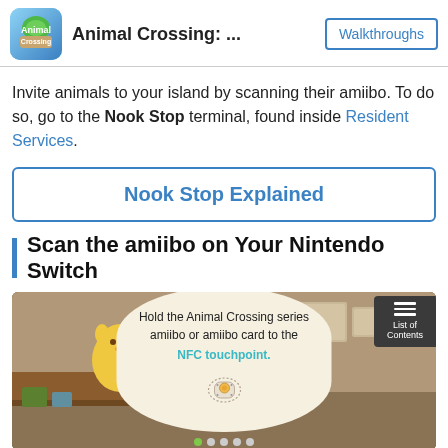Animal Crossing: ... | Walkthroughs
Invite animals to your island by scanning their amiibo. To do so, go to the Nook Stop terminal, found inside Resident Services.
Nook Stop Explained
Scan the amiibo on Your Nintendo Switch
[Figure (screenshot): Screenshot from Animal Crossing showing a dialog bubble that reads 'Hold the Animal Crossing series amiibo or amiibo card to the NFC touchpoint.' with an image of a Joy-Con controller and a table of contents button overlay. Dot indicators at the bottom show 5 slides with the first active.]